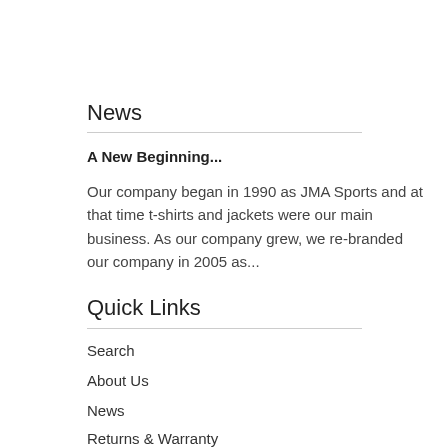News
A New Beginning...
Our company began in 1990 as JMA Sports and at that time t-shirts and jackets were our main business.  As our company grew, we re-branded our company in 2005 as...
Quick Links
Search
About Us
News
Returns & Warranty
Follow Us